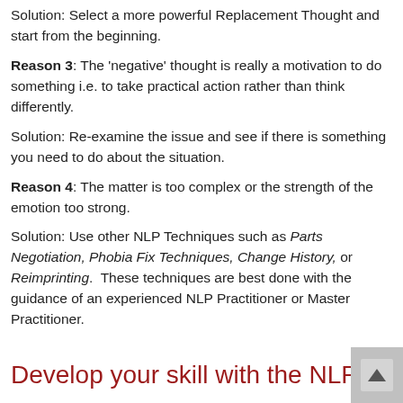Solution: Select a more powerful Replacement Thought and start from the beginning.
Reason 3: The ‘negative’ thought is really a motivation to do something i.e. to take practical action rather than think differently.
Solution: Re-examine the issue and see if there is something you need to do about the situation.
Reason 4: The matter is too complex or the strength of the emotion too strong.
Solution: Use other NLP Techniques such as Parts Negotiation, Phobia Fix Techniques, Change History, or Reimprinting. These techniques are best done with the guidance of an experienced NLP Practitioner or Master Practitioner.
Develop your skill with the NLP